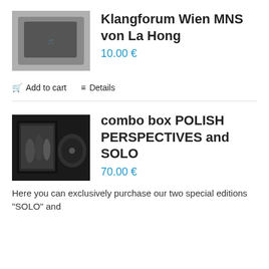[Figure (photo): Product image of Klangforum Wien MNS von La Hong item, dark bag/case]
Klangforum Wien MNS von La Hong
10.00 €
Add to cart   Details
[Figure (photo): Product image of combo box POLISH PERSPECTIVES and SOLO, dark box set]
combo box POLISH PERSPECTIVES and SOLO
70.00 €
Here you can exclusively purchase our two special editions "SOLO" and